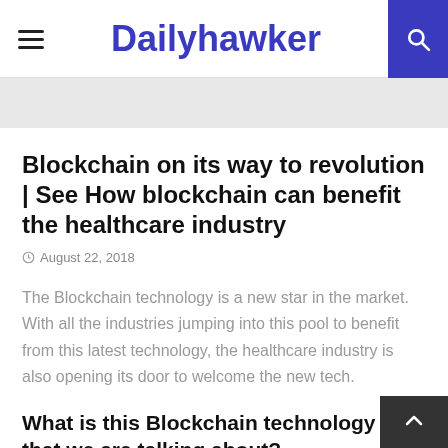Dailyhawker
Blockchain on its way to revolution | See How blockchain can benefit the healthcare industry
August 22, 2018
The Blockchain technology is a new star in the market. With all the industries jumping into this pool to benefit from this latest technology, the healthcare industry is also opening its door to welcome the new tech.
What is this Blockchain technology that we are talking about?